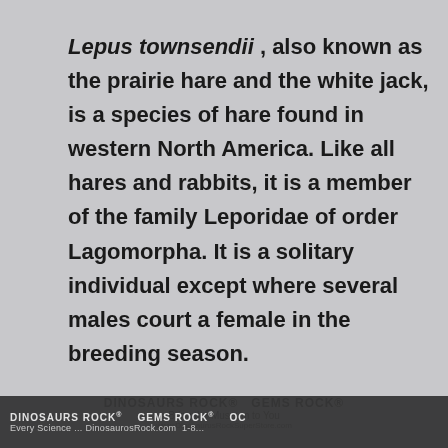Lepus townsendii , also known as the prairie hare and the white jack, is a species of hare found in western North America. Like all hares and rabbits, it is a member of the family Leporidae of order Lagomorpha. It is a solitary individual except where several males court a female in the breeding season.
DINOSAURS ROCK®    GEMS ROCK®    Every Science ... DinosaurosRock.com  1-8...